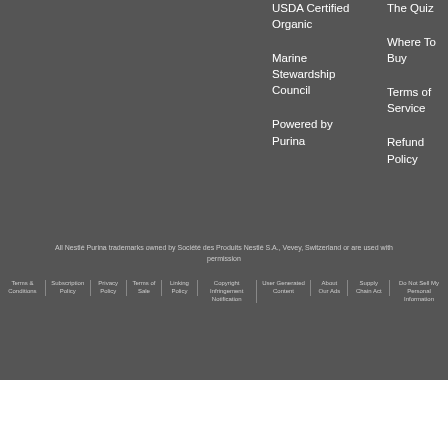USDA Certified Organic
Marine Stewardship Council
Powered by Purina
The Quiz
Where To Buy
Terms of Service
Refund Policy
All Nestlé Purina trademarks owned by Société des Produits Nestlé S.A., Vevey, Switzerland or are used with permission
Terms & Conditions | Subscription Policy | Privacy Policy | Terms of Sale | Linking Policy | Copyright Infringement Notification | User Generated Content | About Our Ads | Supply Chain Act | Do Not Sell My Personal Information